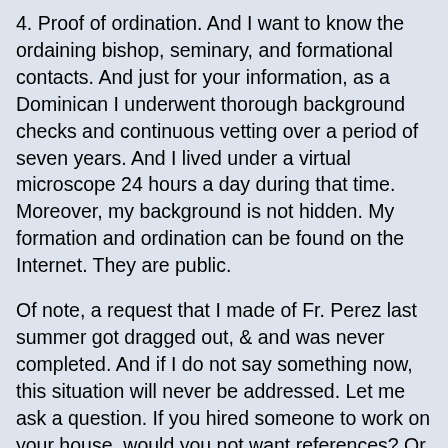4. Proof of ordination. And I want to know the ordaining bishop, seminary, and formational contacts. And just for your information, as a Dominican I underwent thorough background checks and continuous vetting over a period of seven years. And I lived under a virtual microscope 24 hours a day during that time. Moreover, my background is not hidden. My formation and ordination can be found on the Internet. They are public.
Of note, a request that I made of Fr. Perez last summer got dragged out, & and was never completed. And if I do not say something now, this situation will never be addressed. Let me ask a question. If you hired someone to work on your house, would you not want references? Or if you sent your children to a day care center, would you not want references? This is the house of God. Can we be any less responsible?
So here is what I am asking: A priest is a public person. Let me repeat that: A priest is a public person. Therefore, with